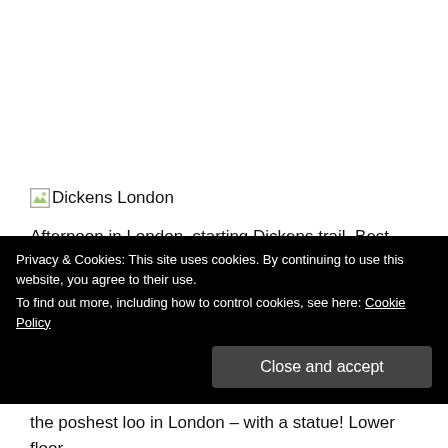[Figure (photo): Broken image placeholder with label 'Dickens London']
Afternoon in London, starting Dickens trail. Best way to see hidden gems of London – walk the back streets – amazing what you stumble across. In my case
Privacy & Cookies: This site uses cookies. By continuing to use this website, you agree to their use.
To find out more, including how to control cookies, see here: Cookie Policy
Close and accept
the poshest loo in London – with a statue! Lower floor